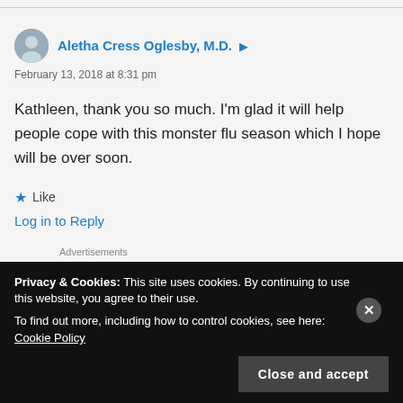Aletha Cress Oglesby, M.D.
February 13, 2018 at 8:31 pm
Kathleen, thank you so much. I'm glad it will help people cope with this monster flu season which I hope will be over soon.
★ Like
Log in to Reply
Advertisements
Privacy & Cookies: This site uses cookies. By continuing to use this website, you agree to their use.
To find out more, including how to control cookies, see here: Cookie Policy
Close and accept